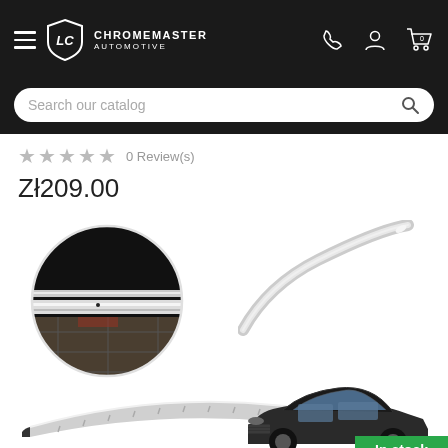CHROMEMASTER AUTOMOTIVE
Search our catalog
★★★★★  0 Review(s)
Zł209.00
[Figure (photo): Product images showing a stainless steel rear bumper protector strip for a car, with a circular close-up inset and a car in the lower right corner. An 'In stock' badge is visible.]